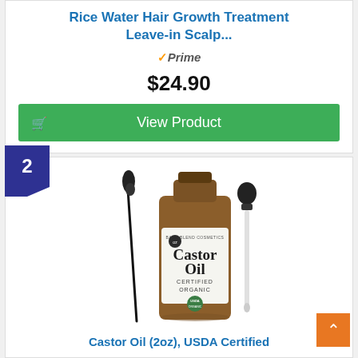Rice Water Hair Growth Treatment Leave-in Scalp...
Prime
$24.90
View Product
2
[Figure (photo): Castor Oil bottle (amber glass, 2oz) with dropper and mascara wand brush, labeled 'Castor Oil Certified Organic' with USDA organic seal]
Castor Oil (2oz), USDA Certified